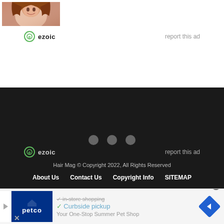[Figure (photo): Partial photo of a woman with brown hair smiling, cropped at top-left corner]
ezoic   report this ad
[Figure (other): Dark background ad unit with three grey dots indicating loading state]
ezoic   report this ad
Hair Mag © Copyright 2022, All Rights Reserved
About Us   Contact Us   Copyright Info   SITEMAP
[Figure (other): Petco advertisement banner with logo, in-store shopping strikethrough, curbside pickup checkmark, Your One-Stop Summer Pet Shop text, navigation arrow icon, and close button]